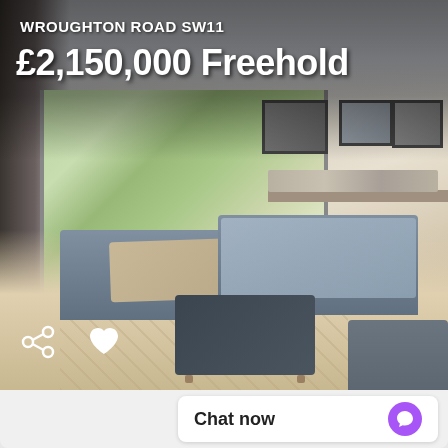[Figure (photo): Interior photo of a large modern living room with herringbone wood floors, grey sofas, a dark leather ottoman/coffee table, large bi-fold glass doors opening to a sunny patio/garden, three framed artworks on right wall, and a white ceiling with recessed lighting. Address overlay: WROUGHTON ROAD SW11. Price overlay: £2,150,000 Freehold. Share and heart icons bottom left. Chat now button bottom right.]
WROUGHTON ROAD SW11
£2,150,000 Freehold
Chat now